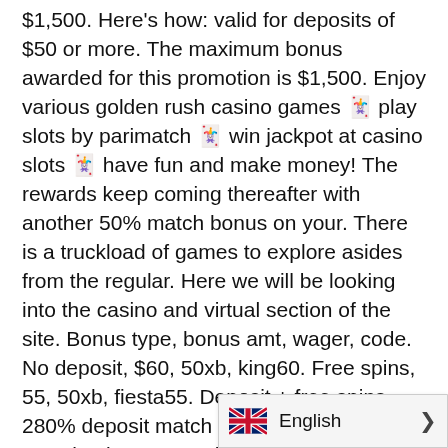$1,500. Here's how: valid for deposits of $50 or more. The maximum bonus awarded for this promotion is $1,500. Enjoy various golden rush casino games 🃏 play slots by parimatch 🃏 win jackpot at casino slots 🃏 have fun and make money! The rewards keep coming thereafter with another 50% match bonus on your. There is a truckload of games to explore asides from the regular. Here we will be looking into the casino and virtual section of the site. Bonus type, bonus amt, wager, code. No deposit, $60, 50xb, king60. Free spins, 55, 50xb, fiesta55. Deposit + free spins, 280% deposit match up to $2,800 +. Home » casino bonuses » the virtual casino – $25 no deposit bonus. Browse all bonuses offered by the virtual casino, including their no deposit bonus offers and first deposit welcome bonuses. Casino coupon code: xnbfng. Free $25 + 10 free spins on ancient go...
[Figure (other): Language selector bar showing UK flag and 'English' label with a right arrow]